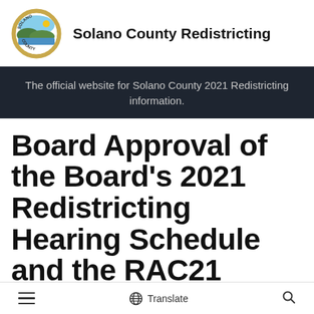[Figure (logo): Solano County seal/logo — circular emblem with landscape, text SOLANO COUNTY around border, gold ring]
Solano County Redistricting
The official website for Solano County 2021 Redistricting information.
Board Approval of the Board's 2021 Redistricting Hearing Schedule and the RAC21 Members
≡  🌐 Translate  🔍